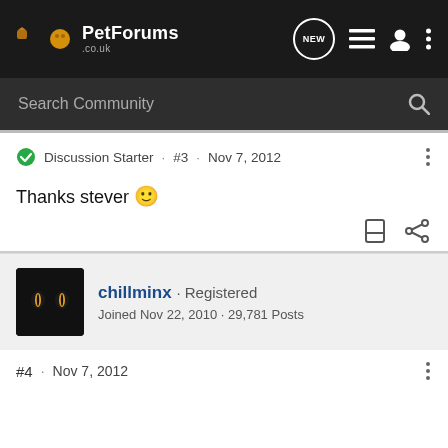PetForums .co.uk — navigation header with NEW, list, profile, and menu icons
Search Community
Discussion Starter · #3 · Nov 7, 2012
Thanks stever 🙂
chillminx · Registered
Joined Nov 22, 2010 · 29,781 Posts
#4 · Nov 7, 2012